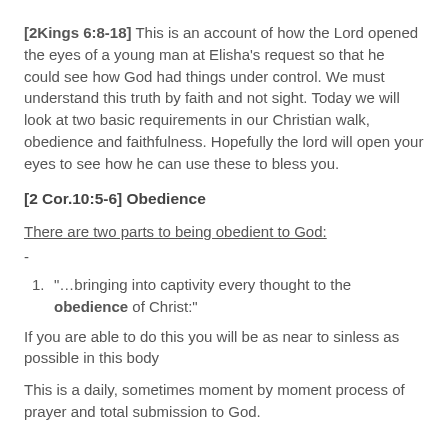[2Kings 6:8-18] This is an account of how the Lord opened the eyes of a young man at Elisha's request so that he could see how God had things under control. We must understand this truth by faith and not sight. Today we will look at two basic requirements in our Christian walk, obedience and faithfulness. Hopefully the lord will open your eyes to see how he can use these to bless you.
[2 Cor.10:5-6] Obedience
There are two parts to being obedient to God:
-
1. "…bringing into captivity every thought to the obedience of Christ:"
If you are able to do this you will be as near to sinless as possible in this body
This is a daily, sometimes moment by moment process of prayer and total submission to God.